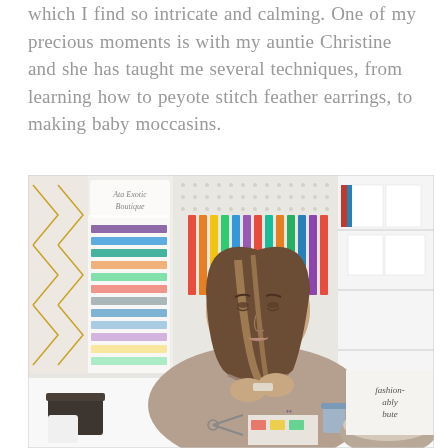which I find so intricate and calming. One of my precious moments is with my auntie Christine and she has taught me several techniques, from learning how to peyote stitch feather earrings, to making baby moccasins.
[Figure (photo): A woman with long brown hair sits at a white table in a craft studio, focused on beadwork or a small craft project. Behind her are pegboards and shelving units filled with colorful craft supplies, spools, and storage boxes. On the table are scissors, a small blue jar, papers, and a bowl of beads in the foreground.]